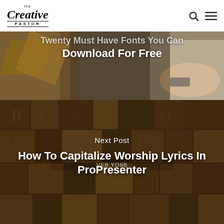[Figure (screenshot): The Creative Pastor logo in top left navigation bar with search and hamburger menu icons on the right]
[Figure (photo): Top section: person's hand on desk with paper/card and wooden geometry shapes, partially obscured by nav bar. White text overlay reads 'Twenty Must Have Fonts You Can Download For Free']
Twenty Must Have Fonts You Can Download For Free
Next Post
[Figure (photo): Bottom section: wooden letterpress type blocks with various letters and characters, dark brown tones]
How To Capitalize Worship Lyrics In ProPresenter